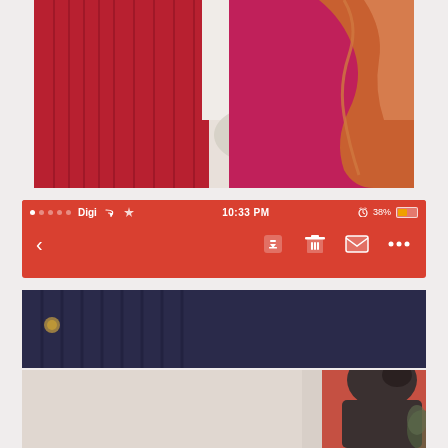[Figure (photo): Two people wearing red/magenta tops photographed from above; one has wavy reddish-blonde hair on the right, the other wears a ribbed red sweater on the left.]
[Figure (screenshot): Mobile phone interface screenshot showing: status bar with signal dots, Digi carrier, WiFi icon, time 10:33 PM, alarm icon, 38% battery; and a navigation bar with back arrow, save/download icon, trash icon, envelope icon, and more options ellipsis.]
[Figure (photo): Partial photo strip showing person in dark ribbed top, bottom of frame.]
[Figure (photo): Photo of person with dark hair bun, seen from behind, with red background element and greenery at right edge.]